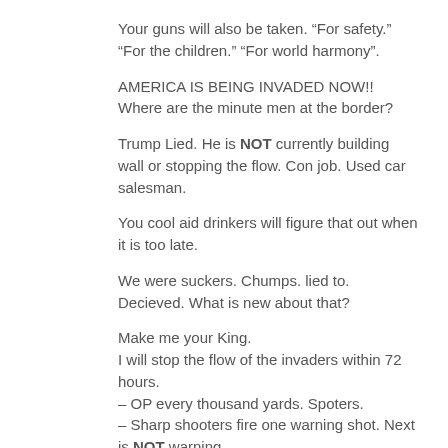Your guns will also be taken. “For safety.” “For the children.” “For world harmony”.
AMERICA IS BEING INVADED NOW!!
Where are the minute men at the border?
Trump Lied. He is NOT currently building wall or stopping the flow. Con job. Used car salesman.
You cool aid drinkers will figure that out when it is too late.
We were suckers. Chumps. lied to. Decieved. What is new about that?
Make me your King.
I will stop the flow of the invaders within 72 hours.
– OP every thousand yards. Spoters.
– Sharp shooters fire one warning shot. Next is NOT warning.
– Razor wire in highly invaded border sectors.
– Drones.